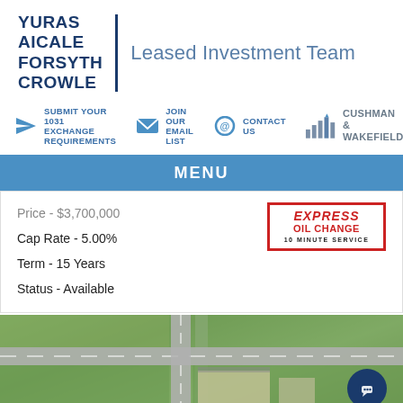[Figure (logo): Yuras Aicale Forsyth Crowle | Leased Investment Team logo with Cushman & Wakefield branding]
SUBMIT YOUR 1031 EXCHANGE REQUIREMENTS
JOIN OUR EMAIL LIST
CONTACT US
CUSHMAN & WAKEFIELD
MENU
Price - $3,700,000
Cap Rate - 5.00%
Term - 15 Years
Status - Available
[Figure (logo): Express Oil Change 10 Minute Service logo]
[Figure (photo): Aerial photo of a property location showing intersection roads and surrounding land]